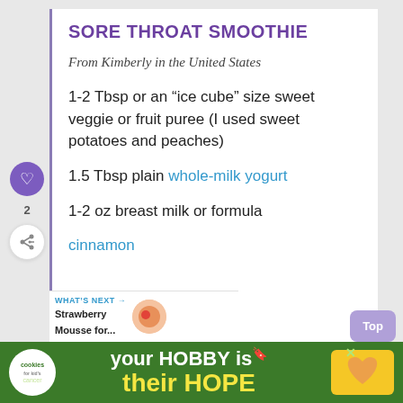SORE THROAT SMOOTHIE
From Kimberly in the United States
1-2 Tbsp or an “ice cube” size sweet veggie or fruit puree (I used sweet potatoes and peaches)
1.5 Tbsp plain whole-milk yogurt
1-2 oz breast milk or formula
cinnamon
[Figure (screenshot): Website UI showing a recipe card for Sore Throat Smoothie with social share buttons, a What's Next promo bar, a Top button, and a green ad banner at the bottom for cookies for kid's cancer charity.]